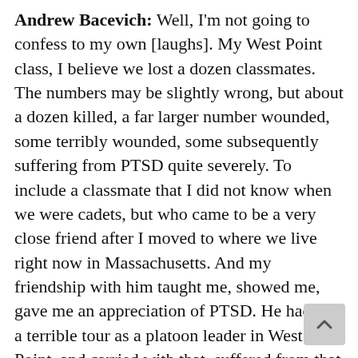Andrew Bacevich: Well, I'm not going to confess to my own [laughs]. My West Point class, I believe we lost a dozen classmates. The numbers may be slightly wrong, but about a dozen killed, a far larger number wounded, some terribly wounded, some subsequently suffering from PTSD quite severely. To include a classmate that I did not know when we were cadets, but who came to be a very close friend after I moved to where we live right now in Massachusetts. And my friendship with him taught me, showed me, gave me an appreciation of PTSD. He had had a terrible tour as a platoon leader in West Point, and carried with that, suffered from that for many years thereafter, until, through his own courage, was able to get his life on track.